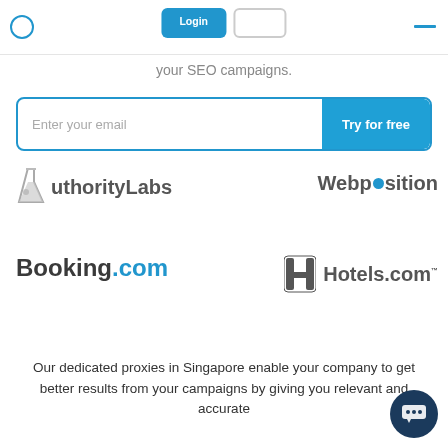[Figure (screenshot): Navigation header bar with search icon on left, two buttons in center (one blue filled, one outlined), and a blue dash/menu icon on the right]
your SEO campaigns.
[Figure (screenshot): Email input field with placeholder 'Enter your email' and a blue 'Try for free' button on the right]
[Figure (logo): AuthorityLabs logo with flask icon on the left]
[Figure (logo): Webposition logo with blue dot replacing 'o']
[Figure (logo): Booking.com logo in dark bold text]
[Figure (logo): Hotels.com logo with H icon]
Our dedicated proxies in Singapore enable your company to get better results from your campaigns by giving you relevant and accurate